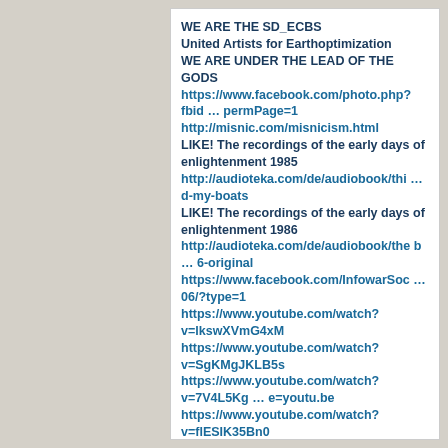WE ARE THE SD_ECBS
United Artists for Earthoptimization
WE ARE UNDER THE LEAD OF THE GODS
https://www.facebook.com/photo.php?fbid … permPage=1
http://misnic.com/misnicism.html
LIKE! The recordings of the early days of enlightenment 1985
http://audioteka.com/de/audiobook/thi … d-my-boats
LIKE! The recordings of the early days of enlightenment 1986
http://audioteka.com/de/audiobook/the b … 6-original
https://www.facebook.com/InfowarSoc … 06/?type=1
https://www.youtube.com/watch?v=lkswXVmG4xM
https://www.youtube.com/watch?v=SgKMgJKLB5s
https://www.youtube.com/watch?v=7V4L5Kg … e=youtu.be
https://www.youtube.com/watch?v=flESIK35Bn0
http://misnic.com
http://misnic.net/
http://copyandpastewillhealtheworld.c
DR GREER 2 Billion USD offred to shut up!.....